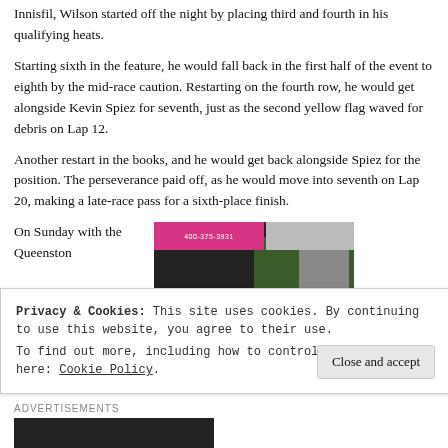Innisfil, Wilson started off the night by placing third and fourth in his qualifying heats.
Starting sixth in the feature, he would fall back in the first half of the event to eighth by the mid-race caution. Restarting on the fourth row, he would get alongside Kevin Spiez for seventh, just as the second yellow flag waved for debris on Lap 12.
Another restart in the books, and he would get back alongside Spiez for the position. The perseverance paid off, as he would move into seventh on Lap 20, making a late-race pass for a sixth-place finish.
On Sunday with the Queenston
[Figure (photo): A pink advertising banner and dark structure with trees in the background, seen at a racing venue.]
Privacy & Cookies: This site uses cookies. By continuing to use this website, you agree to their use.
To find out more, including how to control cookies, see here: Cookie Policy
Close and accept
Advertisements